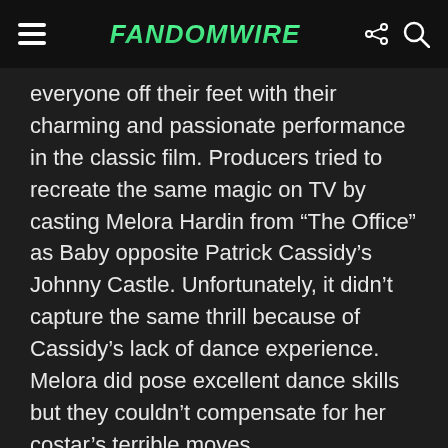FandomWire
everyone off their feet with their charming and passionate performance in the classic film. Producers tried to recreate the same magic on TV by casting Melora Hardin from “The Office” as Baby opposite Patrick Cassidy’s Johnny Castle. Unfortunately, it didn’t capture the same thrill because of Cassidy’s lack of dance experience. Melora did pose excellent dance skills but they couldn’t compensate for her costar’s terrible moves.
Ferris Bueller’s Day Off